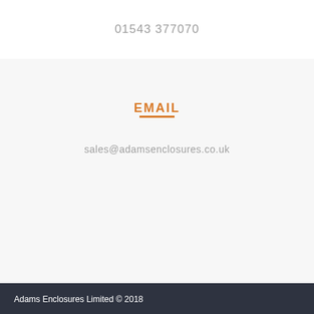01543 377070
EMAIL
sales@adamsenclosures.co.uk
Adams Enclosures Limited © 2018